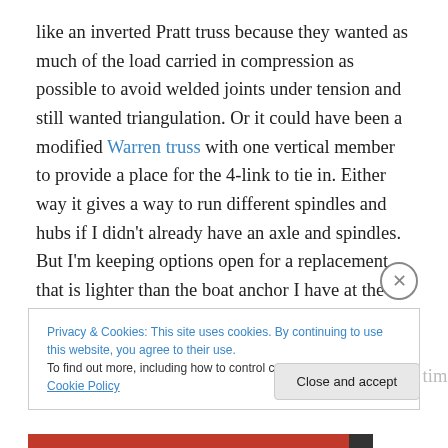like an inverted Pratt truss because they wanted as much of the load carried in compression as possible to avoid welded joints under tension and still wanted triangulation. Or it could have been a modified Warren truss with one vertical member to provide a place for the 4-link to tie in. Either way it gives a way to run different spindles and hubs if I didn't already have an axle and spindles. But I'm keeping options open for a replacement that is lighter than the boat anchor I have at the moment. Not that it's an actual boat anchor, just like 10 times stronger than needed for a 1300 pound street car, and correspondingly 10 times
Privacy & Cookies: This site uses cookies. By continuing to use this website, you agree to their use.
To find out more, including how to control cookies, see here: Cookie Policy
Close and accept